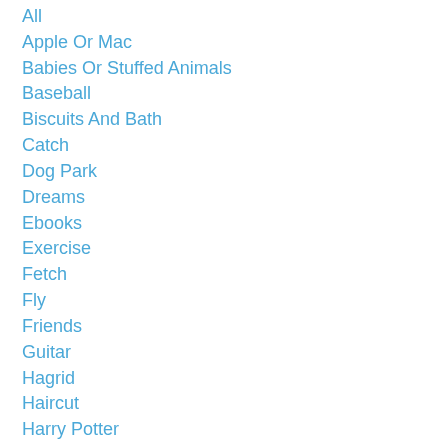All
Apple Or Mac
Babies Or Stuffed Animals
Baseball
Biscuits And Bath
Catch
Dog Park
Dreams
Ebooks
Exercise
Fetch
Fly
Friends
Guitar
Hagrid
Haircut
Harry Potter
Hogwarts
Madison Square Park
Mayor
Mohawk